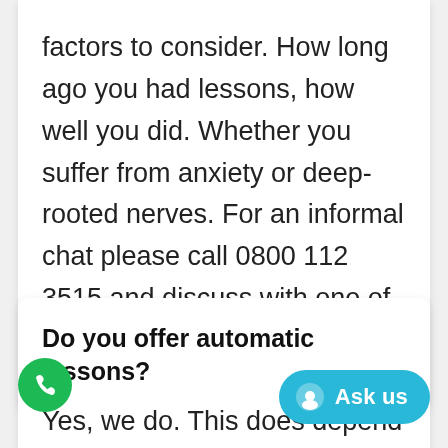factors to consider. How long ago you had lessons, how well you did. Whether you suffer from anxiety or deep-rooted nerves. For an informal chat please call 0800 112 3515 and discuss with one of our team members.
Do you offer automatic lessons?
Yes, we do. This does depend on where your